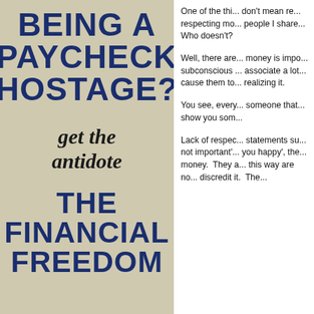BEING A PAYCHECK HOSTAGE?
get the antidote
THE FINANCIAL FREEDOM
One of the thi... don't mean re... respecting mo... people I share... Who doesn't?
Well, there are... money is impo... subconscious ... associate a lot... cause them to... realizing it.
You see, every... someone that... show you som...
Lack of respec... statements su... not important'... you happy', the... money. They a... this way are no... discredit it. The...